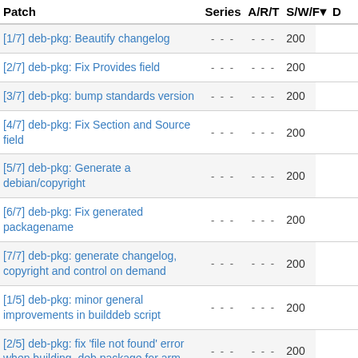| Patch | Series | A/R/T | S/W/F | ▼ D |
| --- | --- | --- | --- | --- |
| [1/7] deb-pkg: Beautify changelog | - - - | - - - | 200 |
| [2/7] deb-pkg: Fix Provides field | - - - | - - - | 200 |
| [3/7] deb-pkg: bump standards version | - - - | - - - | 200 |
| [4/7] deb-pkg: Fix Section and Source field | - - - | - - - | 200 |
| [5/7] deb-pkg: Generate a debian/copyright | - - - | - - - | 200 |
| [6/7] deb-pkg: Fix generated packagename | - - - | - - - | 200 |
| [7/7] deb-pkg: generate changelog, copyright and control on demand | - - - | - - - | 200 |
| [1/5] deb-pkg: minor general improvements in builddeb script | - - - | - - - | 200 |
| [2/5] deb-pkg: fix 'file not found' error when building .deb package for arm | - - - | - - - | 200 |
| [3/5] deb-pkg: pass Debian maintainer script parameters to packaging hook scripts | - - - | - - - | 200 |